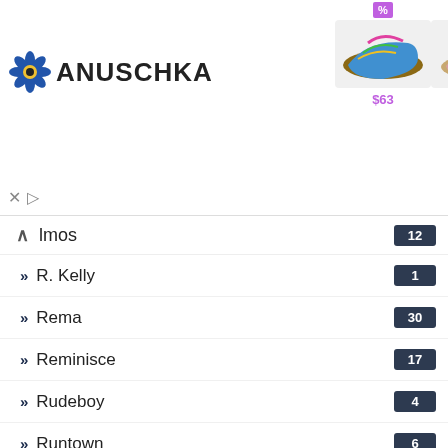[Figure (screenshot): Anuschka shoe advertisement banner with 4 products showing -49% discount badges and prices of $63, $63, $68, $63]
lmos — 12
R. Kelly — 1
Rema — 30
Reminisce — 17
Rudeboy — 4
Runtown — 6
Sarkodie — 58
Sinach — 38
Skales — 28
Tekno — 34